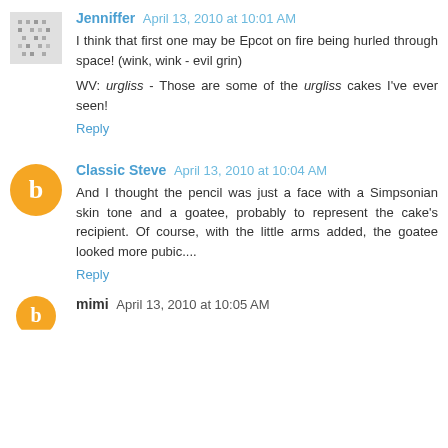Jenniffer April 13, 2010 at 10:01 AM
I think that first one may be Epcot on fire being hurled through space! (wink, wink - evil grin)

WV: urgliss - Those are some of the urgliss cakes I've ever seen!

Reply
Classic Steve April 13, 2010 at 10:04 AM
And I thought the pencil was just a face with a Simpsonian skin tone and a goatee, probably to represent the cake's recipient. Of course, with the little arms added, the goatee looked more pubic....

Reply
mimi April 13, 2010 at 10:05 AM